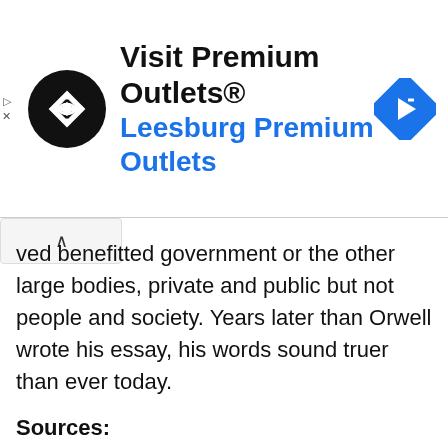[Figure (other): Advertisement banner for Premium Outlets with black circular logo, 'Visit Premium Outlets®' text, 'Leesburg Premium Outlets' in blue, and a blue navigation arrow icon on the right]
ved benefitted government or the other large bodies, private and public but not people and society. Years later than Orwell wrote his essay, his words sound truer than ever today.
Sources:
https://orwell.ru/library/articles/ABomb/english/e_abomb
Filed Under: George Orwell, Literature